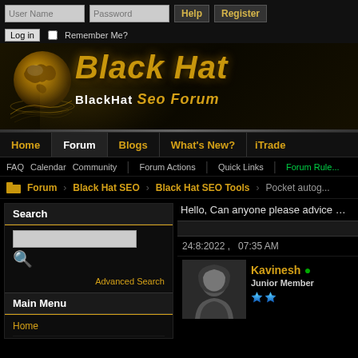[Figure (screenshot): BlackHat SEO Forum website header with globe logo and golden Black Hat text]
User Name | Password | Help | Register | Log in | Remember Me?
[Figure (logo): Black Hat SEO Forum logo with golden globe and stylized Black Hat text]
Home | Forum | Blogs | What's New? | iTrade
FAQ  Calendar  Community  Forum Actions  Quick Links  Forum Rules
Forum  Black Hat SEO  Black Hat SEO Tools  Pocket autog...
Search
Advanced Search
Main Menu
Home
Main Forums
Hello, Can anyone please advice me...
24:8:2022 ,   07:35 AM
Kavinesh • Junior Member